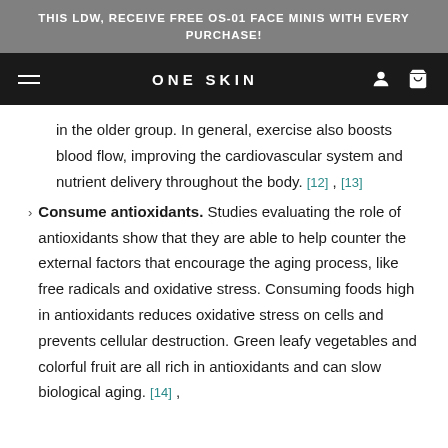THIS LDW, RECEIVE FREE OS-01 FACE MINIS WITH EVERY PURCHASE!
ONE SKIN
in the older group. In general, exercise also boosts blood flow, improving the cardiovascular system and nutrient delivery throughout the body. [12] , [13]
Consume antioxidants. Studies evaluating the role of antioxidants show that they are able to help counter the external factors that encourage the aging process, like free radicals and oxidative stress. Consuming foods high in antioxidants reduces oxidative stress on cells and prevents cellular destruction. Green leafy vegetables and colorful fruit are all rich in antioxidants and can slow biological aging. [14] ,